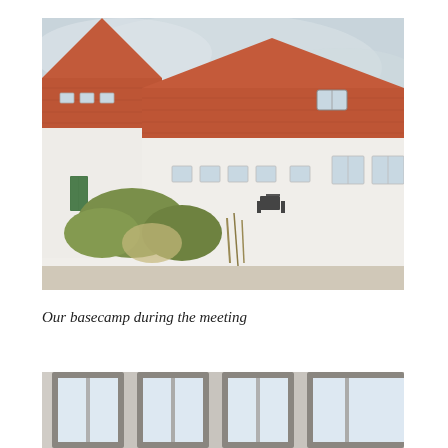[Figure (photo): Exterior photograph of a Danish farm building complex with white-rendered walls and a terracotta/red tiled roof. Two gabled wings are visible. In the foreground is a gravel yard with outdoor furniture (table and chairs), some shrubs and bare trees. The sky is overcast and grey.]
Our basecamp during the meeting
[Figure (photo): Interior photograph showing large grey-framed windows looking out to a bright exterior. The window frames are prominent in the foreground, partially cropped at the bottom of the page.]